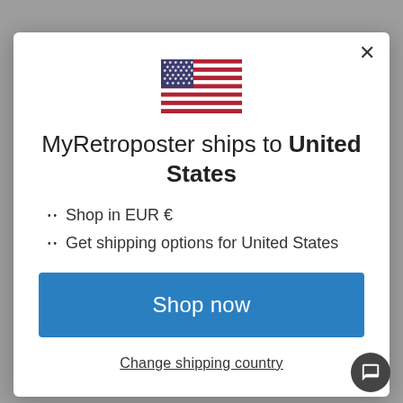[Figure (illustration): US flag emoji/icon centered at top of modal]
MyRetroposter ships to United States
Shop in EUR €
Get shipping options for United States
Shop now
Change shipping country